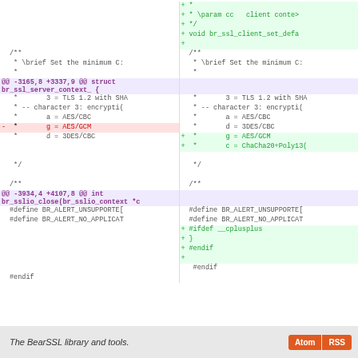[Figure (screenshot): A code diff view (split diff) showing changes to BearSSL library header files. The diff includes additions of SSL client context functions, modifications to TLS cipher character encoding documentation, and additions of C++ extern guards. Removed line shows '* g = AES/GCM', added lines show new cipher entries and #ifdef __cplusplus guards.]
The BearSSL library and tools.